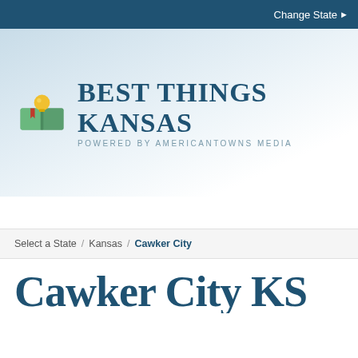Change State ▶
[Figure (logo): Best Things Kansas logo — green open book with gold lightbulb and red bookmark ribbon, next to bold serif text 'Best Things Kansas' with subtitle 'Powered by AmericanTowns Media']
Select a State / Kansas / Cawker City
Cawker City KS